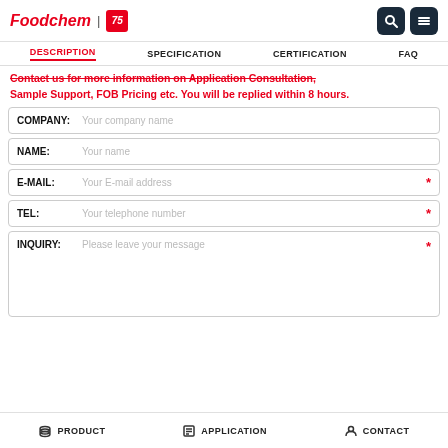Foodchem | 75 [logo with search and menu icons]
DESCRIPTION | SPECIFICATION | CERTIFICATION | FAQ
Contact us for more information on Application Consultation, Sample Support, FOB Pricing etc. You will be replied within 8 hours.
COMPANY: Your company name
NAME: Your name
E-MAIL: Your E-mail address *
TEL: Your telephone number *
INQUIRY: Please leave your message *
PRODUCT | APPLICATION | CONTACT